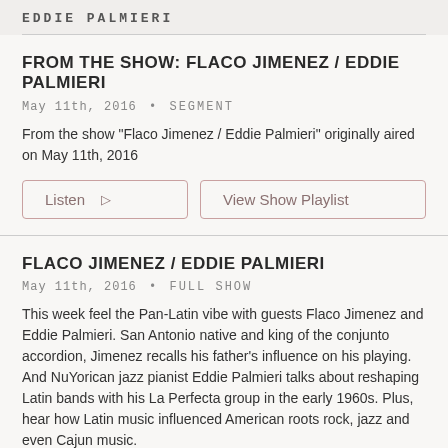EDDIE PALMIERI
From the Show: Flaco Jimenez / Eddie Palmieri
May 11th, 2016 • SEGMENT
From the show "Flaco Jimenez / Eddie Palmieri" originally aired on May 11th, 2016
Listen ▷
View Show Playlist
Flaco Jimenez / Eddie Palmieri
May 11th, 2016 • FULL SHOW
This week feel the Pan-Latin vibe with guests Flaco Jimenez and Eddie Palmieri. San Antonio native and king of the conjunto accordion, Jimenez recalls his father's influence on his playing. And NuYorican jazz pianist Eddie Palmieri talks about reshaping Latin bands with his La Perfecta group in the early 1960s. Plus, hear how Latin music influenced American roots rock, jazz and even Cajun music.
Listen to Hour 1 ▷
Listen to Hour 2 ▷